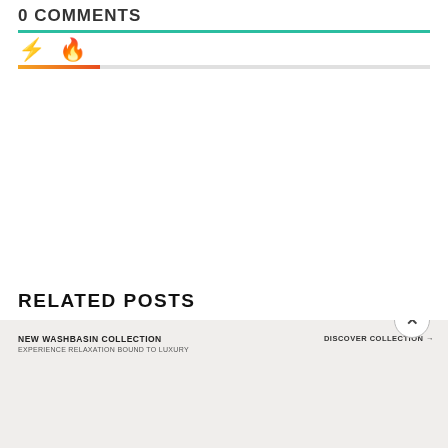0 COMMENTS
[Figure (other): Two emoji icons: a yellow lightning bolt and an orange flame, with a gradient progress bar below (orange to light gray)]
RELATED POSTS
[Figure (other): Advertisement banner for 'NEW WASHBASIN COLLECTION - EXPERIENCE RELAXATION BOUND TO LUXURY' showing four washbasin products on a marble/stone background, with 'DISCOVER COLLECTION →' call to action and a close (×) button]